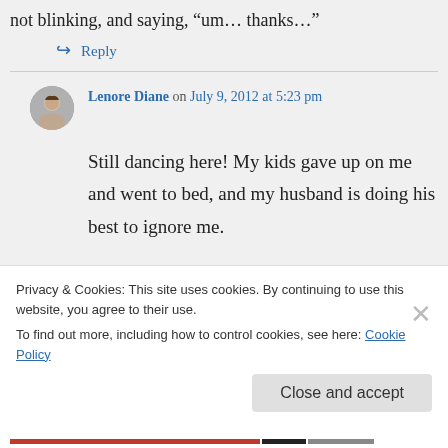not blinking, and saying, “um… thanks…”
↳ Reply
Lenore Diane on July 9, 2012 at 5:23 pm
Still dancing here! My kids gave up on me and went to bed, and my husband is doing his best to ignore me.
Privacy & Cookies: This site uses cookies. By continuing to use this website, you agree to their use.
To find out more, including how to control cookies, see here: Cookie Policy
Close and accept